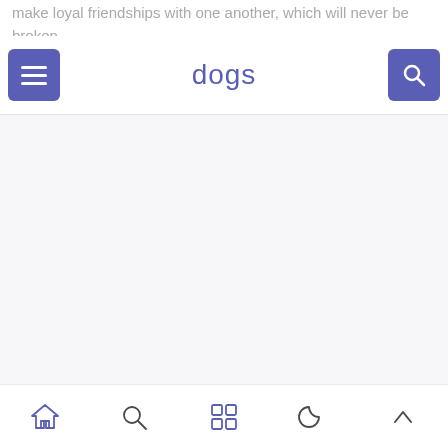make loyal friendships with one another, which will never be broken.
dogs
[Figure (screenshot): Mobile app screenshot showing a header bar with hamburger menu button on the left, 'dogs' title in purple in the center, and search button on the right. Below is a large empty white/light gray content area. At the bottom is a navigation bar with home, search, grid, moon, and chevron-up icons.]